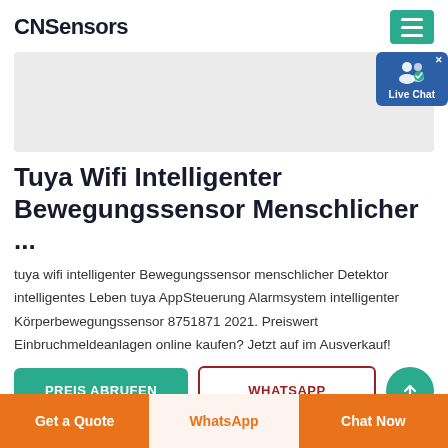CNSensors
[Figure (screenshot): Product image placeholder area (light gray rectangle) with a Live Chat badge in the top right]
Tuya Wifi Intelligenter Bewegungssensor Menschlicher ...
tuya wifi intelligenter Bewegungssensor menschlicher Detektor intelligentes Leben tuya AppSteuerung Alarmsystem intelligenter Körperbewegungssensor 8751871 2021. Preiswert Einbruchmeldeanlagen online kaufen? Jetzt auf im Ausverkauf!
PREIS ABRUFEN
WHATSAPP
Get a Quote   WhatsApp   Chat Now